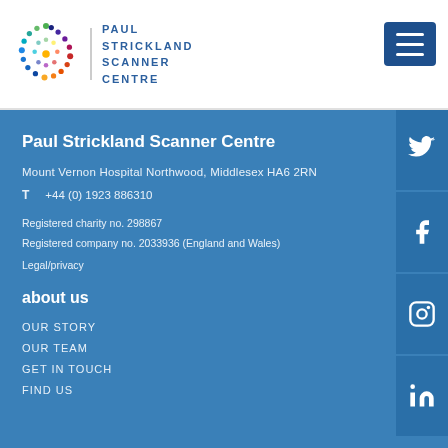[Figure (logo): Paul Strickland Scanner Centre logo with colourful dot circle and text]
Paul Strickland Scanner Centre
Mount Vernon Hospital Northwood, Middlesex HA6 2RN
T   +44 (0) 1923 886310
Registered charity no. 298867
Registered company no. 2033936 (England and Wales)
Legal/privacy
about us
OUR STORY
OUR TEAM
GET IN TOUCH
FIND US